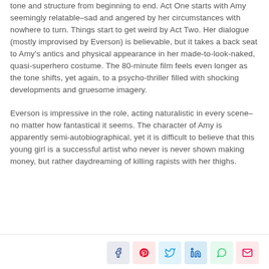tone and structure from beginning to end. Act One starts with Amy seemingly relatable–sad and angered by her circumstances with nowhere to turn. Things start to get weird by Act Two. Her dialogue (mostly improvised by Everson) is believable, but it takes a back seat to Amy's antics and physical appearance in her made-to-look-naked, quasi-superhero costume. The 80-minute film feels even longer as the tone shifts, yet again, to a psycho-thriller filled with shocking developments and gruesome imagery.
Everson is impressive in the role, acting naturalistic in every scene–no matter how fantastical it seems. The character of Amy is apparently semi-autobiographical, yet it is difficult to believe that this young girl is a successful artist who never is never shown making money, but rather daydreaming of killing rapists with her thighs.
[Figure (other): Social share buttons: Facebook, Pinterest, Twitter, LinkedIn, WhatsApp, Email]